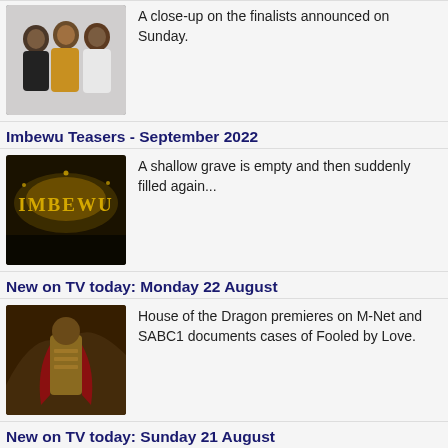[Figure (photo): Three people posing together: a man on the left and two women]
A close-up on the finalists announced on Sunday.
Imbewu Teasers - September 2022
[Figure (photo): Imbewu TV show logo on dark background]
A shallow grave is empty and then suddenly filled again...
New on TV today: Monday 22 August
[Figure (photo): House of the Dragon promotional image with armored figure]
House of the Dragon premieres on M-Net and SABC1 documents cases of Fooled by Love.
New on TV today: Sunday 21 August
[Figure (photo): Group of four people posing together]
Singing comp Die Kontrak moves to eExtra and SABC2 teaches you How to Live a Simple Life.
New on TV today: Saturday 20 August
[Figure (photo): Animals in outdoor setting]
HISTORY goes back in time when I Was There, as